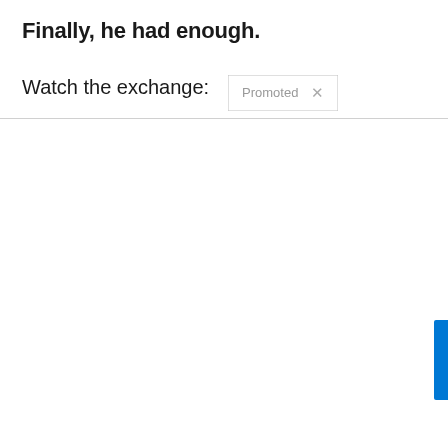Finally, he had enough.
Watch the exchange:
[Figure (screenshot): Promoted badge/tooltip overlay with close X button, shown near the 'Watch the exchange:' text]
[Figure (other): Blue vertical tab/bar on right edge of page]